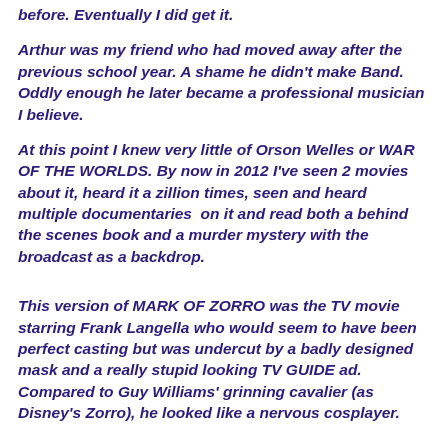before. Eventually I did get it.
Arthur was my friend who had moved away after the previous school year. A shame he didn't make Band. Oddly enough he later became a professional musician I believe.
At this point I knew very little of Orson Welles or WAR OF THE WORLDS. By now in 2012 I've seen 2 movies about it, heard it a zillion times, seen and heard multiple documentaries  on it and read both a behind the scenes book and a murder mystery with the broadcast as a backdrop.
This version of MARK OF ZORRO was the TV movie starring Frank Langella who would seem to have been perfect casting but was undercut by a badly designed mask and a really stupid looking TV GUIDE ad. Compared to Guy Williams' grinning cavalier (as Disney's Zorro), he looked like a nervous cosplayer.